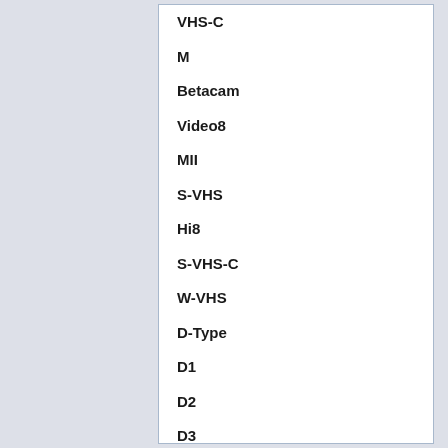VHS-C
M
Betacam
Video8
MII
S-VHS
Hi8
S-VHS-C
W-VHS
D-Type
D1
D2
D3